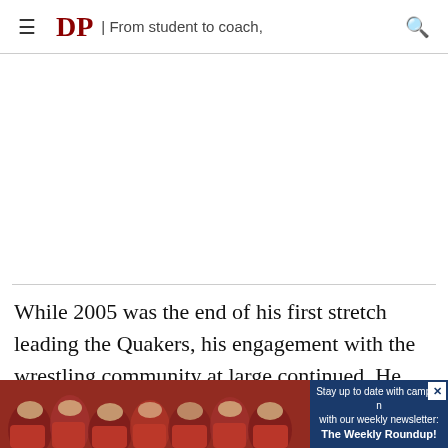DP | From student to coach,
While 2005 was the end of his first stretch leading the Quakers, his engagement with the wrestling community at large continued. He next helped launch the Pennsylvania Regional Training Center, a wrestling program whose
[Figure (photo): Crowd of students in red shirts celebrating, with a promotional ad overlay for 'The Weekly Roundup' newsletter]
Stay up to date with campus news with our weekly newsletter: The Weekly Roundup!